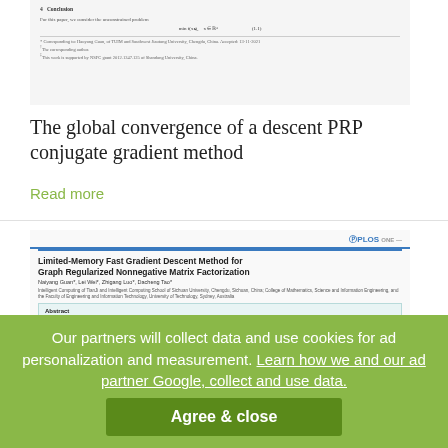[Figure (screenshot): Thumbnail of a scientific paper page showing section header, formula, and footnotes]
The global convergence of a descent PRP conjugate gradient method
Read more
[Figure (screenshot): Thumbnail of PLOS ONE paper titled 'Limited-Memory Fast Gradient Descent Method for Graph Regularized Nonnegative Matrix Factorization' with authors Naiyang Guan, Lei Wei, Zhigang Luo, Dacheng Tao, showing abstract in teal box]
Our partners will collect data and use cookies for ad personalization and measurement. Learn how we and our ad partner Google, collect and use data.
Agree & close